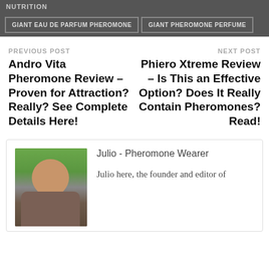NUTRITION
GIANT EAU DE PARFUM PHEROMONE
GIANT PHEROMONE PERFUME
PREVIOUS POST
Andro Vita Pheromone Review – Proven for Attraction? Really? See Complete Details Here!
NEXT POST
Phiero Xtreme Review – Is This an Effective Option? Does It Really Contain Pheromones? Read!
[Figure (photo): Photo of Julio, a person wearing sunglasses, outdoors with green background]
Julio - Pheromone Wearer
Julio here, the founder and editor of